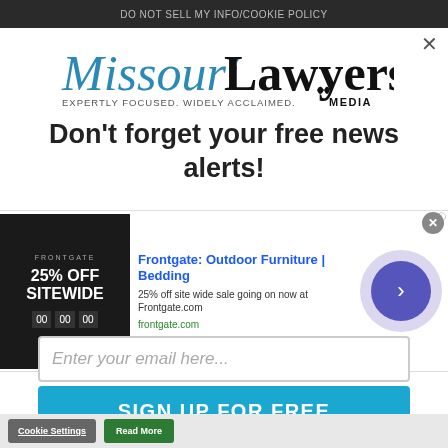DO NOT SELL MY INFO/COOKIE POLICY
[Figure (logo): Missouri Lawyers Media logo — 'Missouri' in blue italic serif, 'Lawyers' in black bold serif, 'MEDIA' in black caps with a decorative emblem. Tagline: EXPERTLY FOCUSED. WIDELY ACCLAIMED.]
Don't forget your free news alerts!
Get the latest legal news, verdicts &
Enter your email here...
SIGN UP FOR FREE
[Figure (infographic): Advertisement overlay: Frontgate Outdoor Furniture | Bedding — 25% off site wide sale going on now at Frontgate.com. Shows a dark promotional image with '25% OFF SITEWIDE' text, a navigation arrow button, and a close button.]
Cookie Settings
Read More